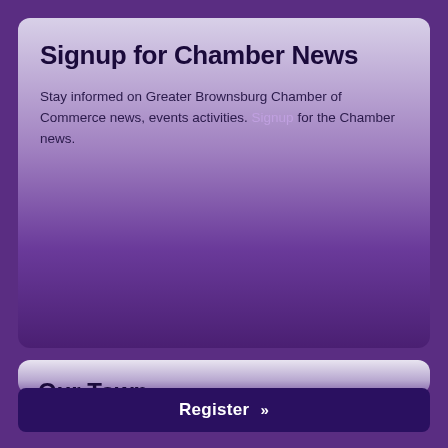Signup for Chamber News
Stay informed on Greater Brownsburg Chamber of Commerce news, events activities. Signup for the Chamber news.
Our Town
Learn more about our town. Access the town website here and see the latest about the new businesses coming to our community.
Register »